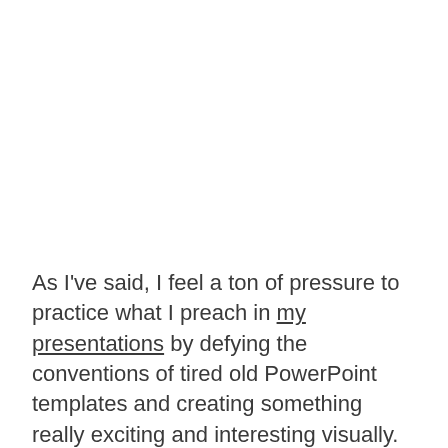As I've said, I feel a ton of pressure to practice what I preach in my presentations by defying the conventions of tired old PowerPoint templates and creating something really exciting and interesting visually.
I learned a lot in the process about finding good